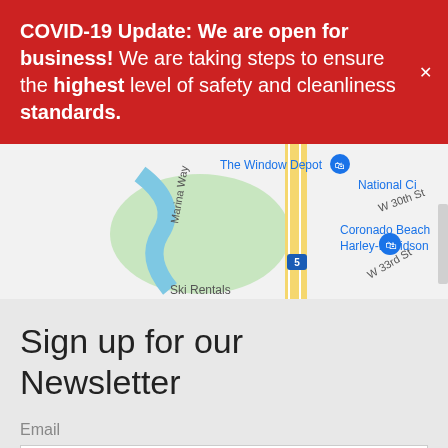COVID-19 Update: We are open for business! We are taking steps to ensure the highest level of safety and cleanliness standards.
[Figure (map): Google Maps screenshot showing area near Coronado Beach Harley-Davidson, with streets W 30th St, W 33rd St, Marina Way, and Interstate 5 visible. Nearby locations include The Window Depot, National City, and Ski Rentals.]
Sign up for our Newsletter
Email
SUBSCRIBE